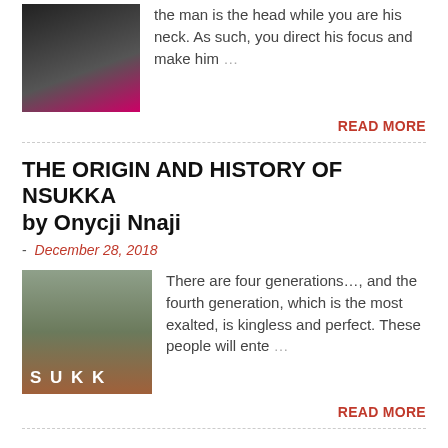[Figure (photo): Woman in dark outfit, top of page]
the man is the head while you are his neck. As such, you direct his focus and make him …
READ MORE
THE ORIGIN AND HISTORY OF NSUKKA by Onycji Nnaji
- December 28, 2018
[Figure (photo): Aerial view of Nsukka with SUKK text overlay]
There are four generations…, and the fourth generation, which is the most exalted, is kingless and perfect. These people will ente …
READ MORE
THE HISTORY AND ORIGIN OF THE ZULU PEOPLE
- August 27, 2017